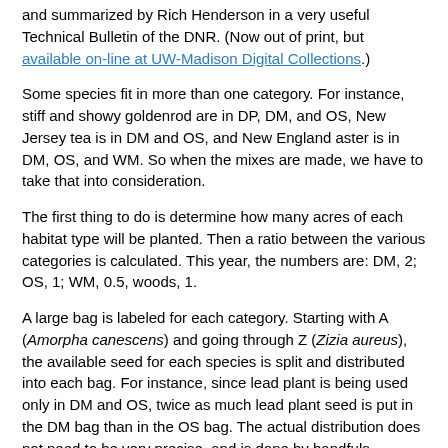and summarized by Rich Henderson in a very useful Technical Bulletin of the DNR. (Now out of print, but available on-line at UW-Madison Digital Collections.)
Some species fit in more than one category. For instance, stiff and showy goldenrod are in DP, DM, and OS, New Jersey tea is in DM and OS, and New England aster is in DM, OS, and WM. So when the mixes are made, we have to take that into consideration.
The first thing to do is determine how many acres of each habitat type will be planted. Then a ratio between the various categories is calculated. This year, the numbers are: DM, 2; OS, 1; WM, 0.5, woods, 1.
A large bag is labeled for each category. Starting with A (Amorpha canescens) and going through Z (Zizia aureus), the available seed for each species is split and distributed into each bag. For instance, since lead plant is being used only in DM and OS, twice as much lead plant seed is put in the DM bag than in the OS bag. The actual distribution does not need to be very precise, and is done by handfuls.